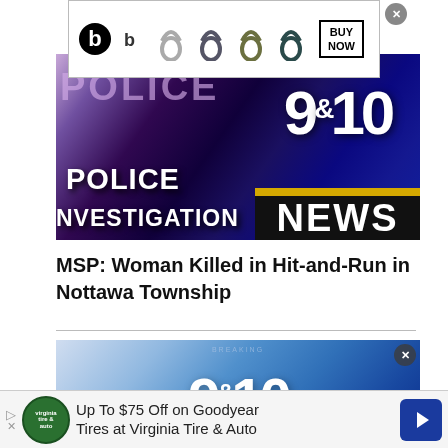[Figure (photo): Beats advertisement banner with headphones and BUY NOW button]
[Figure (photo): 9&10 News Police Investigation thumbnail showing a police car with text overlay 'POLICE INVESTIGATION 9&10 NEWS']
MSP: Woman Killed in Hit-and-Run in Nottawa Township
[Figure (photo): 9&10 News logo on blue gradient background, second news story thumbnail]
Up To $75 Off on Goodyear Tires at Virginia Tire & Auto